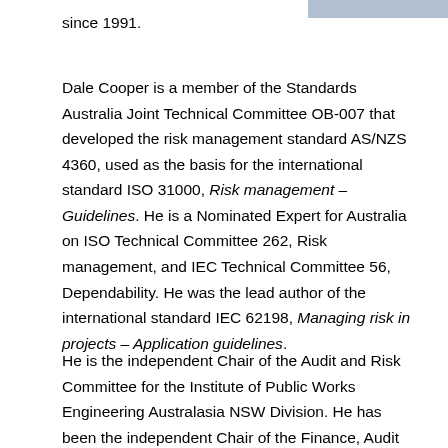[Figure (photo): Partial photo of a person in a suit, cropped at top right corner of page]
since 1991.
Dale Cooper is a member of the Standards Australia Joint Technical Committee OB-007 that developed the risk management standard AS/NZS 4360, used as the basis for the international standard ISO 31000, Risk management – Guidelines. He is a Nominated Expert for Australia on ISO Technical Committee 262, Risk management, and IEC Technical Committee 56, Dependability. He was the lead author of the international standard IEC 62198, Managing risk in projects – Application guidelines.
He is the independent Chair of the Audit and Risk Committee for the Institute of Public Works Engineering Australasia NSW Division. He has been the independent Chair of the Finance, Audit and Risk Committee for the